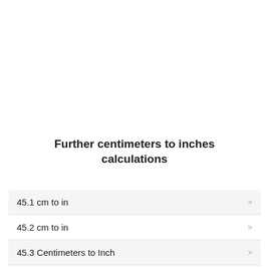Further centimeters to inches calculations
45.1 cm to in
45.2 cm to in
45.3 Centimeters to Inch
45.4 cm to in
45.5 cm to in